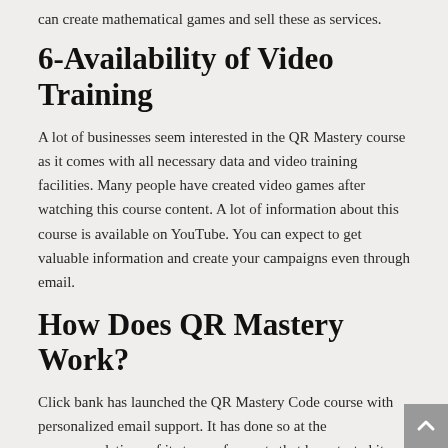can create mathematical games and sell these as services.
6-Availability of Video Training
A lot of businesses seem interested in the QR Mastery course as it comes with all necessary data and video training facilities. Many people have created video games after watching this course content. A lot of information about this course is available on YouTube. You can expect to get valuable information and create your campaigns even through email.
How Does QR Mastery Work?
Click bank has launched the QR Mastery Code course with personalized email support. It has done so at the recommendations of its team of experts that have tested its reliability. They have created easy-to-use capacities that meet several users. Moreover, the personalized support offered by the software vendor helps businesses win more leads. The Facebook page of the company also provides comprehensive information about the review course.